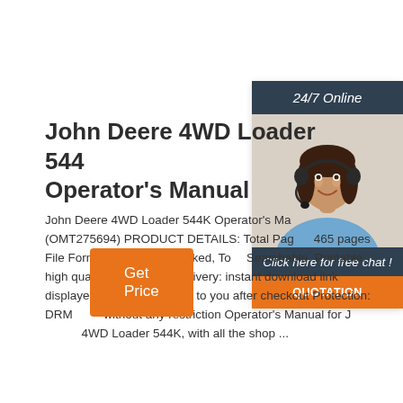John Deere 4WD Loader 544 Operator's Manual
John Deere 4WD Loader 544K Operator's Manual (OMT275694) PRODUCT DETAILS: Total Pages: 465 pages File Format: PDF (bookmarked, TOC, Searchable, Printable, high quality) Language: ... Delivery: instant download link displayed on page, emailed to you after checkout Protection: DRM free, without any restriction Operator's Manual for John Deere 4WD Loader 544K, with all the shop ...
[Figure (photo): Customer support agent woman wearing headset, smiling, with sidebar showing 24/7 Online label, Click here for free chat text, and QUOTATION orange button]
Get Price